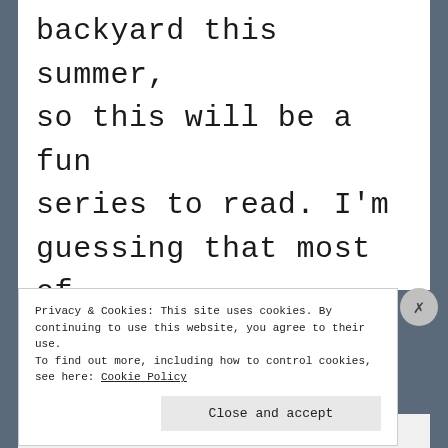backyard this summer, so this will be a fun series to read. I'm guessing that most of the birds on the list won't be among the
Privacy & Cookies: This site uses cookies. By continuing to use this website, you agree to their use.
To find out more, including how to control cookies, see here: Cookie Policy
Close and accept
[Figure (screenshot): Ad bar at bottom showing 'All in One Free App' in orange and 'DuckDuckGo' in dark background]